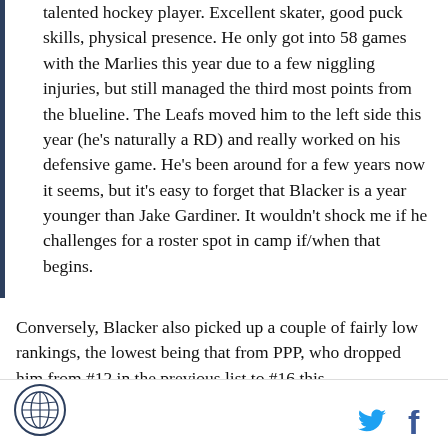talented hockey player. Excellent skater, good puck skills, physical presence. He only got into 58 games with the Marlies this year due to a few niggling injuries, but still managed the third most points from the blueline. The Leafs moved him to the left side this year (he's naturally a RD) and really worked on his defensive game. He's been around for a few years now it seems, but it's easy to forget that Blacker is a year younger than Jake Gardiner. It wouldn't shock me if he challenges for a roster spot in camp if/when that begins.
Conversely, Blacker also picked up a couple of fairly low rankings, the lowest being that from PPP, who dropped him from #12 in the previous list to #16 this